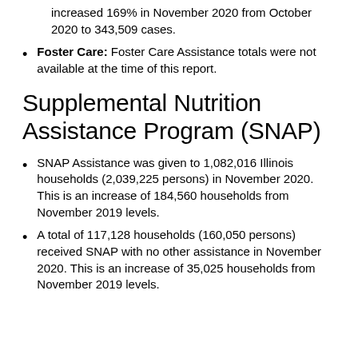increased 169% in November 2020 from October 2020 to 343,509 cases.
Foster Care: Foster Care Assistance totals were not available at the time of this report.
Supplemental Nutrition Assistance Program (SNAP)
SNAP Assistance was given to 1,082,016 Illinois households (2,039,225 persons) in November 2020. This is an increase of 184,560 households from November 2019 levels.
A total of 117,128 households (160,050 persons) received SNAP with no other assistance in November 2020. This is an increase of 35,025 households from November 2019 levels.